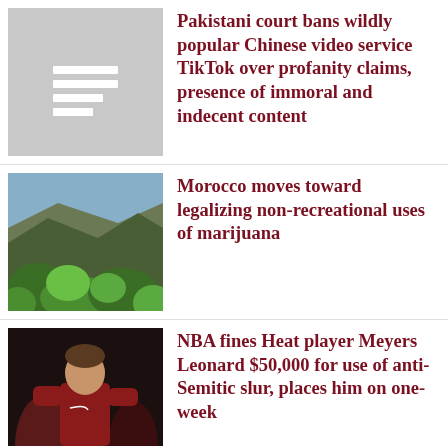[Figure (photo): Gray placeholder image with horizontal white lines resembling a document icon]
Pakistani court bans wildly popular Chinese video service TikTok over profanity claims, presence of immoral and indecent content
[Figure (photo): Outdoor photo of green trees and shrubs against a mountainous hillside background under blue sky]
Morocco moves toward legalizing non-recreational uses of marijuana
[Figure (photo): Photo of NBA player Meyers Leonard in a dark red Heat warm-up shirt, surrounded by other players in similar uniforms]
NBA fines Heat player Meyers Leonard $50,000 for use of anti-Semitic slur, places him on one-week